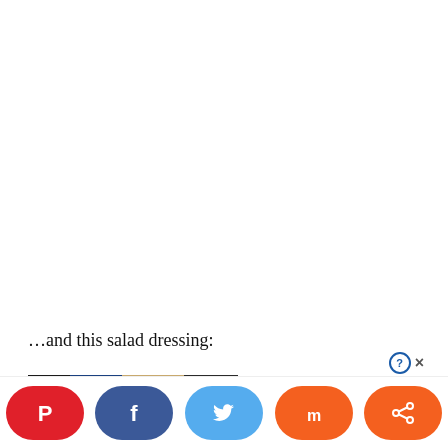…and this salad dressing:
[Figure (photo): Partial image of a salad dressing product, partially cropped at bottom of page]
[Figure (infographic): Social sharing bar with Pinterest (red), Facebook (dark blue), Twitter (light blue), Mix (orange), and Share (orange) pill-shaped buttons, plus a help/close icon]